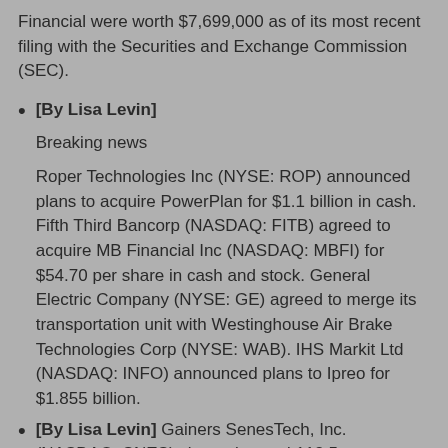Financial were worth $7,699,000 as of its most recent filing with the Securities and Exchange Commission (SEC).
[By Lisa Levin]

Breaking news

Roper Technologies Inc (NYSE: ROP) announced plans to acquire PowerPlan for $1.1 billion in cash. Fifth Third Bancorp (NASDAQ: FITB) agreed to acquire MB Financial Inc (NASDAQ: MBFI) for $54.70 per share in cash and stock. General Electric Company (NYSE: GE) agreed to merge its transportation unit with Westinghouse Air Brake Technologies Corp (NYSE: WAB). IHS Markit Ltd (NASDAQ: INFO) announced plans to Ipreo for $1.855 billion.
[By Lisa Levin] Gainers SenesTech, Inc. (NASDAQ: SNES) shares jumped 113.5 percent to $0.6737 after the California Department of